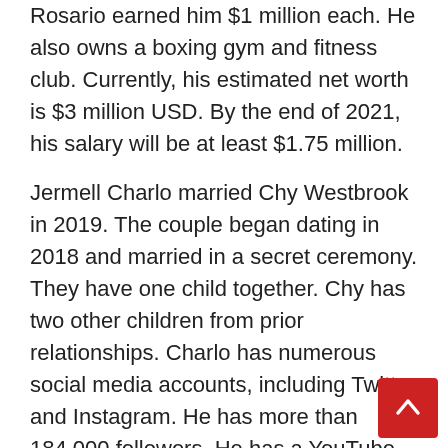Rosario earned him $1 million each. He also owns a boxing gym and fitness club. Currently, his estimated net worth is $3 million USD. By the end of 2021, his salary will be at least $1.75 million.
Jermell Charlo married Chy Westbrook in 2019. The couple began dating in 2018 and married in a secret ceremony. They have one child together. Chy has two other children from prior relationships. Charlo has numerous social media accounts, including Twitter and Instagram. He has more than 184,000 followers. He has a YouTube channel with videos of his training sessions. He is active on YouTube and has over 417,000 Instagram followers.